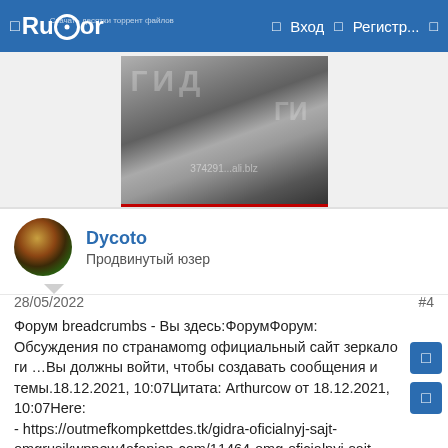Rutor  Вход  Регистр...
[Figure (photo): Black and white artistic photo of a woman's face with swirling hair, watermark text '374291 ...ali.blz']
Dycoto
Продвинутый юзер
28/05/2022  #4
Форум breadcrumbs - Вы здесь:ФорумФорум: Обсуждения по странамomg официальный сайт зеркало ги …Вы должны войти, чтобы создавать сообщения и темы.18.12.2021, 10:07Цитата: Arthurcow от 18.12.2021, 10:07Here:
- https://outmefkompkettdes.tk/gidra-oficialnyj-sajt-omgrusikwpnew4afonion-com/11464-omg-oficialnyj-sajt-zerkalo-gidra-omgpchela-com.html